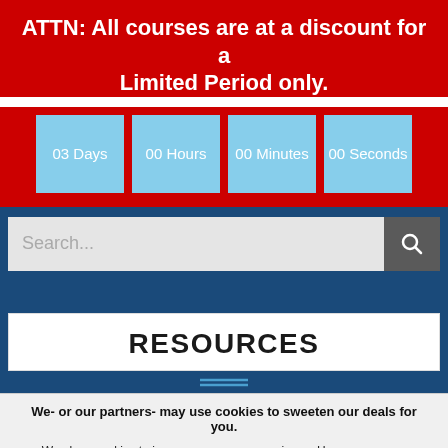ATTN: All courses are at a discount for a Limited Period only.
[Figure (infographic): Four countdown timer boxes showing 03 Days, 00 Hours, 00 Minutes, 00 Seconds on a light blue background]
[Figure (screenshot): Search bar with placeholder text 'Search...' and a dark gray search button with magnifying glass icon]
RESOURCES
We- or our partners- may use cookies to sweeten our deals for you.
We place cookies to improve your user experience. However, we are committed to your safety and respect your privacy. We will only store data that is absolutely necassary to provide you the best experience on our website. By scrolling down you agree to accept our cookie policy.